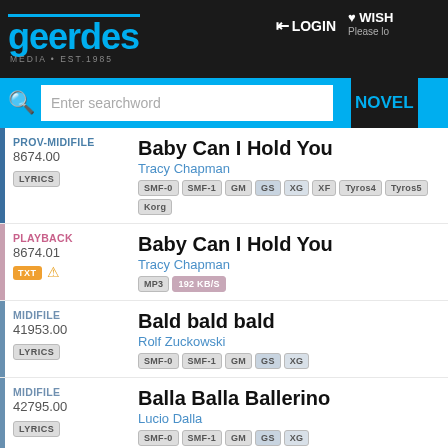[Figure (screenshot): Geerdes Media website header with logo, login, wishlist, search bar]
PROV-MIDIFILE 8674.00 - Baby Can I Hold You - Tracy Chapman - LYRICS, SMF-0, SMF-1, GM, GS, XG, XF, Tyros4, Tyros5, Korg
PLAYBACK 8674.01 - Baby Can I Hold You - Tracy Chapman - TXT, warning, MP3, 192KB/S
MIDIFILE 41953.00 - Bald bald bald - Rolf Zuckowski - LYRICS, SMF-0, SMF-1, GM, GS, XG
MIDIFILE 42795.00 - Balla Balla Ballerino - Lucio Dalla - LYRICS, SMF-0, SMF-1, GM, GS, XG
MIDIFILE 35649.00 - Baumarkt - Ernst und Heinrich - LYRICS, SMF-0, SMF-1, GM, GS, XG